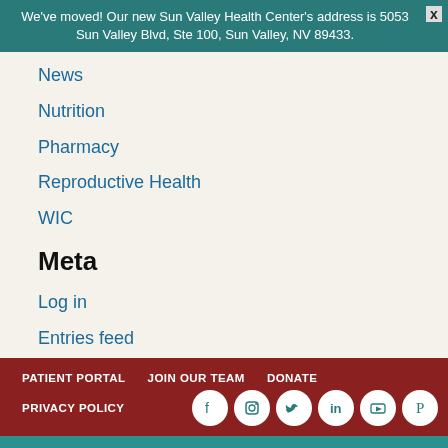We've moved! Our new Sun Valley Health Center's address is 5053 Sun Valley Blvd, Ste 100, Sun Valley, NV 89433.
News
Nutrition
Pharmacy
Reproductive Health
WIC
Meta
Log in
Entries feed
Comments feed
WordPress.org
PATIENT PORTAL   JOIN OUR TEAM   DONATE   PRIVACY POLICY